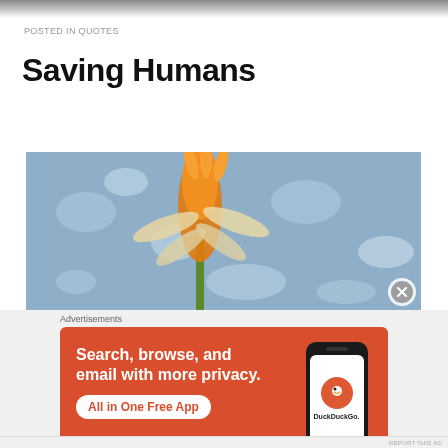POSTED IN QUOTES
Saving Humans
[Figure (photo): Close-up photo of an orange flower against a blurred blue water background]
Advertisements
[Figure (infographic): DuckDuckGo advertisement banner with orange background. Text: 'Search, browse, and email with more privacy. All in One Free App' with phone mockup showing DuckDuckGo logo]